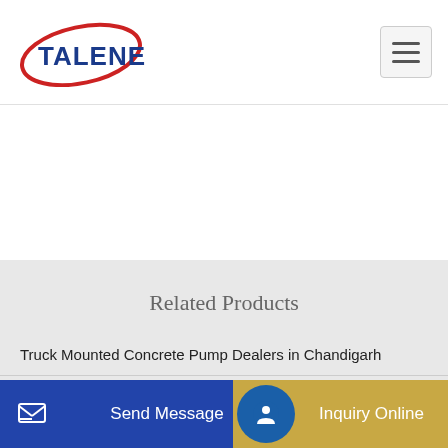[Figure (logo): Talenet company logo — red swoosh ellipse around blue bold text TALENET]
Related Products
Truck Mounted Concrete Pump Dealers in Chandigarh
ELBOW 5 90 DERAJAT R375 FOR CONCRETE PUMP